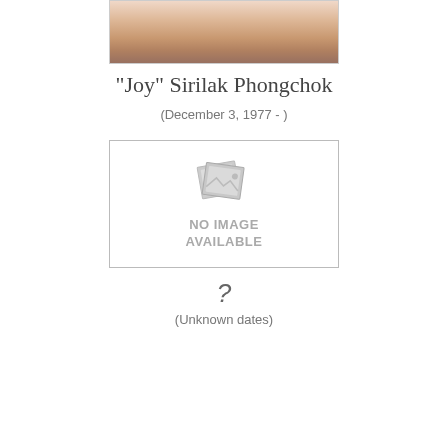[Figure (photo): Partial photo of a woman, cropped at top showing face/neck/shoulder area]
"Joy" Sirilak Phongchok
(December 3, 1977 - )
[Figure (illustration): No image available placeholder with icon and text saying NO IMAGE AVAILABLE]
?
(Unknown dates)